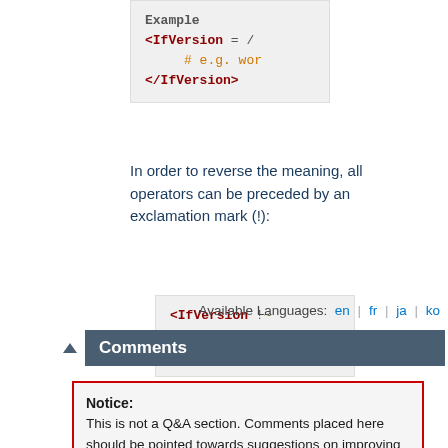[Figure (screenshot): Code box showing <IfVersion = / and # e.g. wor and </IfVersion> (partial, top of page)]
In order to reverse the meaning, all operators can be preceded by an exclamation mark (!):
[Figure (screenshot): Code box showing <IfVersion !~ / # not for / </IfVersion>]
If the operator is omitted, it is assumed to be =.
Available Languages: en | fr | ja | ko
Comments
Notice: This is not a Q&A section. Comments placed here should be pointed towards suggestions on improving the documentation or server, and may be removed by our moderators if they are either